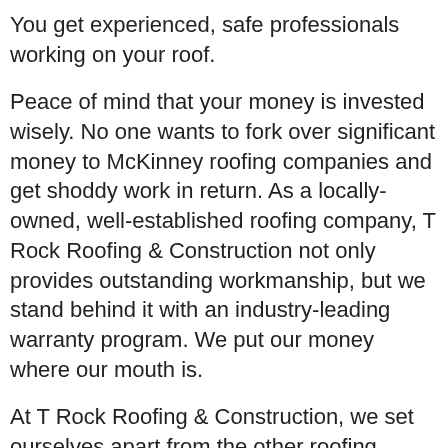You get experienced, safe professionals working on your roof.
Peace of mind that your money is invested wisely. No one wants to fork over significant money to McKinney roofing companies and get shoddy work in return. As a locally-owned, well-established roofing company, T Rock Roofing & Construction not only provides outstanding workmanship, but we stand behind it with an industry-leading warranty program. We put our money where our mouth is.
At T Rock Roofing & Construction, we set ourselves apart from the other roofing companies in McKinney TX, thanks to our sterling predation. T Rock Roofing was recently named one of the top roofers in Plano by Expertise.com and has received the Angie's List Super Service Award for eight years. The Better Business Bureau has rated us an A+